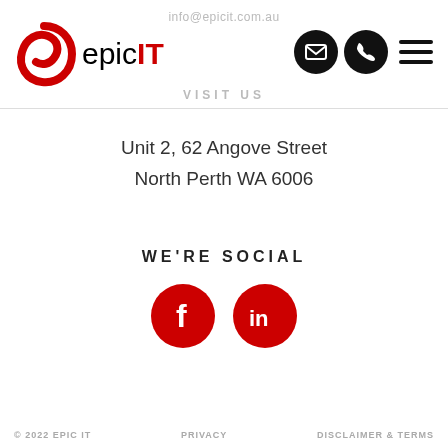info@epicit.com.au
[Figure (logo): Epic IT logo with red swirl icon and epic IT text where IT is in red]
[Figure (infographic): Email icon, phone icon, and hamburger menu icon in black circles/squares]
VISIT US
Unit 2, 62 Angove Street
North Perth WA 6006
WE'RE SOCIAL
[Figure (infographic): Facebook icon (f) in red circle and LinkedIn icon (in) in red circle]
© 2022 EPIC IT    PRIVACY    DISCLAIMER & TERMS